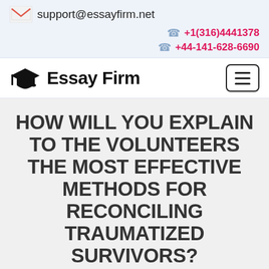support@essayfirm.net   +1(316)4441378   +44-141-628-6690
[Figure (logo): Essay Firm logo with graduation cap icon and hamburger menu button]
HOW WILL YOU EXPLAIN TO THE VOLUNTEERS THE MOST EFFECTIVE METHODS FOR RECONCILING TRAUMATIZED SURVIVORS?
Home > How will you explain to the volunteers the most effective